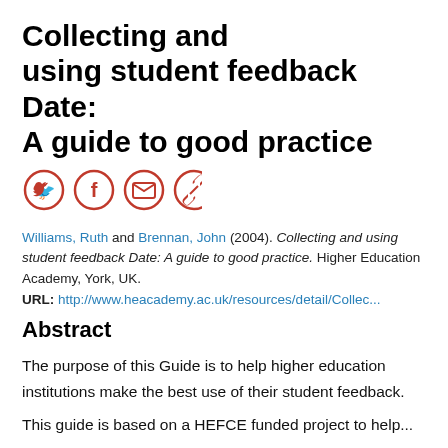Collecting and using student feedback Date: A guide to good practice
[Figure (infographic): Four orange circle icon buttons: Twitter bird, Facebook f, email envelope, and link/chain icon]
Williams, Ruth and Brennan, John (2004). Collecting and using student feedback Date: A guide to good practice. Higher Education Academy, York, UK.
URL: http://www.heacademy.ac.uk/resources/detail/Collec...
Abstract
The purpose of this Guide is to help higher education institutions make the best use of their student feedback.
This guide is based on a HEFCE funded project to help...